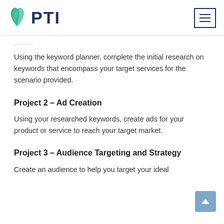PTI
Using the keyword planner, complete the initial research on keywords that encompass your target services for the scenario provided.
Project 2 – Ad Creation
Using your researched keywords, create ads for your product or service to reach your target market.
Project 3 – Audience Targeting and Strategy
Create an audience to help you target your ideal